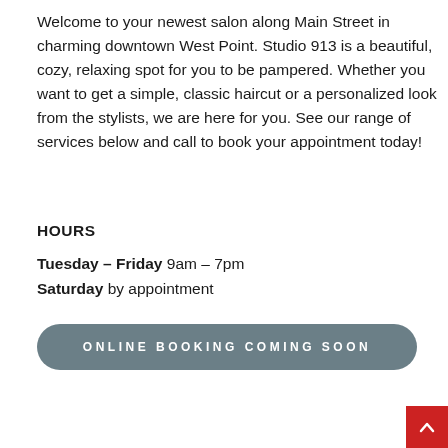Welcome to your newest salon along Main Street in charming downtown West Point. Studio 913 is a beautiful, cozy, relaxing spot for you to be pampered. Whether you want to get a simple, classic haircut or a personalized look from the stylists, we are here for you. See our range of services below and call to book your appointment today!
HOURS
Tuesday – Friday 9am – 7pm
Saturday by appointment
ONLINE BOOKING COMING SOON